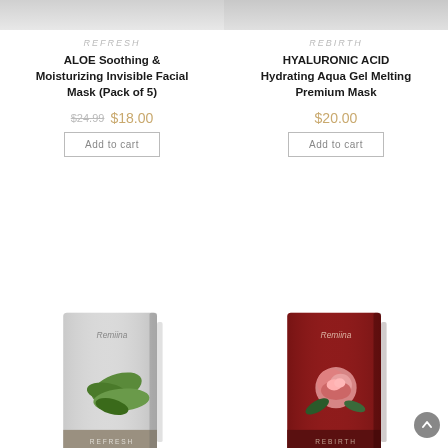[Figure (photo): Top portion of ALOE Soothing product image (cropped)]
REFRESH
ALOE Soothing & Moisturizing Invisible Facial Mask (Pack of 5)
$24.99  $18.00
Add to cart
[Figure (photo): Top portion of HYALURONIC ACID product image (cropped)]
REBIRTH
HYALURONIC ACID Hydrating Aqua Gel Melting Premium Mask
$20.00
Add to cart
[Figure (photo): Remiina Refresh aloe facial mask product package — grey/white with aloe plant image]
[Figure (photo): Remiina Rebirth rose facial mask product package — dark red with pink rose image]